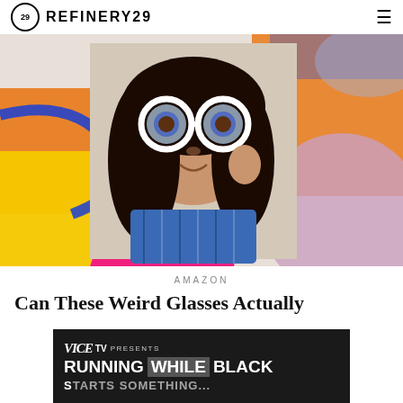REFINERY29
[Figure (photo): Woman wearing large round white anti-motion-sickness glasses on a colorful abstract background with orange, yellow, pink, blue and purple shapes]
AMAZON
Can These Weird Glasses Actually
[Figure (screenshot): VICE TV advertisement banner - VICE TV Presents RUNNING WHILE BLACK with a partial image of a person on a dark background]